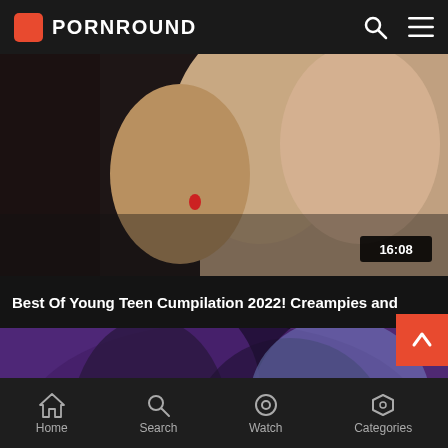PORNROUND
[Figure (screenshot): Video thumbnail showing skin-toned close-up with duration badge 16:08]
Best Of Young Teen Cumpilation 2022! Creampies and
[Figure (screenshot): Video thumbnail showing purple-lit nightclub/party scene]
Home  Search  Watch  Categories